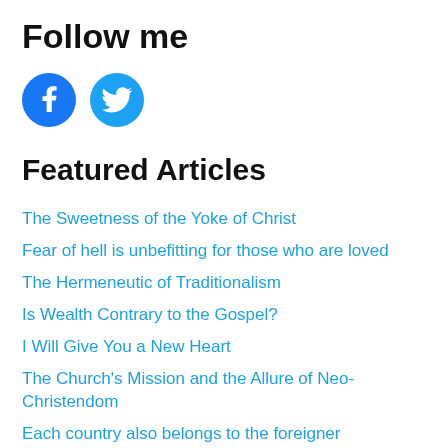Follow me
[Figure (illustration): Facebook and Twitter social media icon buttons (blue circles with white logos)]
Featured Articles
The Sweetness of the Yoke of Christ
Fear of hell is unbefitting for those who are loved
The Hermeneutic of Traditionalism
Is Wealth Contrary to the Gospel?
I Will Give You a New Heart
The Church's Mission and the Allure of Neo-Christendom
Each country also belongs to the foreigner